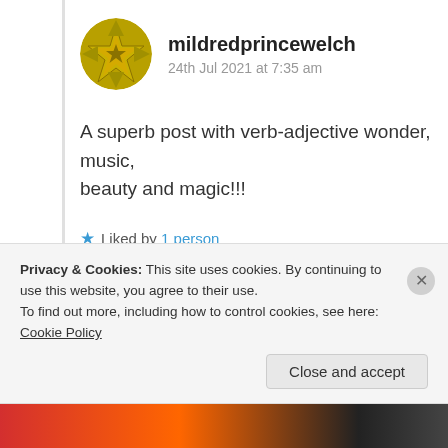mildredprincewelch
24th Jul 2021 at 7:35 am
A superb post with verb-adjective wonder, music, beauty and magic!!!
★ Liked by 1 person
Log in to Reply
Privacy & Cookies: This site uses cookies. By continuing to use this website, you agree to their use.
To find out more, including how to control cookies, see here: Cookie Policy
Close and accept